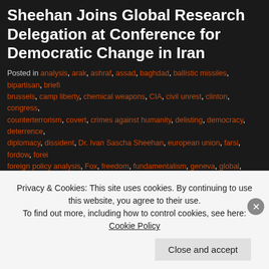Sheehan Joins Global Research Delegation at Conference for Democratic Change in Iran
Posted in analysis, arak, ashraf, assad, baghdad, ballistic missiles, bipartisan, briefing, brussels, camp liberty, chemical weapons, CIA, civil unrest, clinton, congress, counterterrorism, covert, crimes against humanity, delisting, democracy, deterrence, diplomacy, dissident, Dr. Ivan Sascha Sheehan, european union, farsi, fordow, foreign, foreign policy analysis, Fox, freedom, fundamentalism, geneva, global, haider al-aba, hostages, House Foreign Affairs Subcommittee on Terrorism and Non-Proliferation, rights, human security, IAEA, intelligence, international relations, international security, interview, iran, iraq, irgc, ISIS, Ivan Sascha Sheehan, kerry, maliki, media, MEK, MI6, east, military, mossad, mousavi, natanz, NCRI, negotiation, netanyahu, nuclear, oba, P5+1, paris, peace, PMOI, policy, politics, preemptive, Professor Ivan Sascha Sheehan, protest, qum, rajavi, regime change, regime change from within, research, rouhani, scholarly, sectarian conflict, security studies, senate, senate foreign relations committee, sheehan, shiite, state department, strike, sunni, syria, tehran, terrorism, the hill, three foundation for liberty, unrest, war, warships, weapons, white house, yemen, zarif with Congress, Dr. Ivan Sascha Sheehan, Iran, Iraq, Ivan Sascha Sheehan, Policy, Professor Sascha Sheehan, Regime Change, White House on May 14, 2015 by Professor Sheehan
Privacy & Cookies: This site uses cookies. By continuing to use this website, you agree to their use. To find out more, including how to control cookies, see here: Cookie Policy
Close and accept